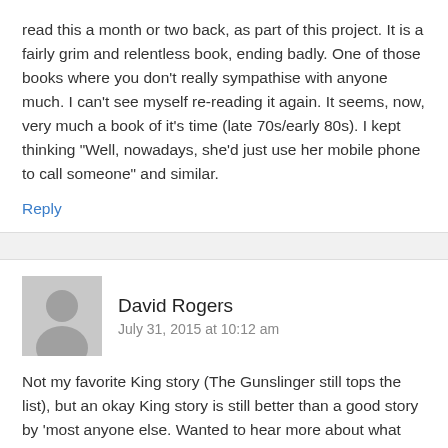read this a month or two back, as part of this project. It is a fairly grim and relentless book, ending badly. One of those books where you don't really sympathise with anyone much. I can't see myself re-reading it again. It seems, now, very much a book of it's time (late 70s/early 80s). I kept thinking "Well, nowadays, she'd just use her mobile phone to call someone" and similar.
Reply
David Rogers
July 31, 2015 at 10:12 am
Not my favorite King story (The Gunslinger still tops the list), but an okay King story is still better than a good story by 'most anyone else. Wanted to hear more about what was in that closet, though. Sequel,